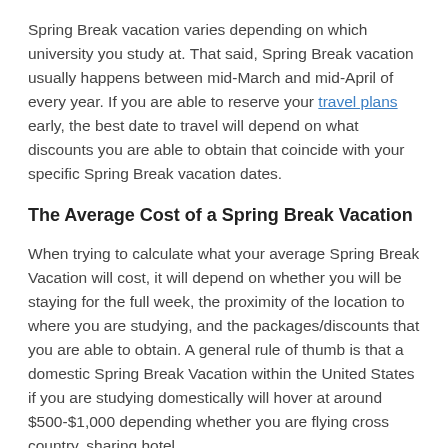Spring Break vacation varies depending on which university you study at. That said, Spring Break vacation usually happens between mid-March and mid-April of every year. If you are able to reserve your travel plans early, the best date to travel will depend on what discounts you are able to obtain that coincide with your specific Spring Break vacation dates.
The Average Cost of a Spring Break Vacation
When trying to calculate what your average Spring Break Vacation will cost, it will depend on whether you will be staying for the full week, the proximity of the location to where you are studying, and the packages/discounts that you are able to obtain. A general rule of thumb is that a domestic Spring Break Vacation within the United States if you are studying domestically will hover at around $500-$1,000 depending whether you are flying cross country, sharing hotel